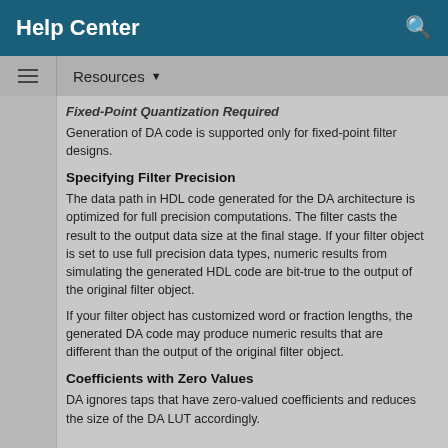Help Center
Fixed-Point Quantization Required
Generation of DA code is supported only for fixed-point filter designs.
Specifying Filter Precision
The data path in HDL code generated for the DA architecture is optimized for full precision computations. The filter casts the result to the output data size at the final stage. If your filter object is set to use full precision data types, numeric results from simulating the generated HDL code are bit-true to the output of the original filter object.
If your filter object has customized word or fraction lengths, the generated DA code may produce numeric results that are different than the output of the original filter object.
Coefficients with Zero Values
DA ignores taps that have zero-valued coefficients and reduces the size of the DA LUT accordingly.